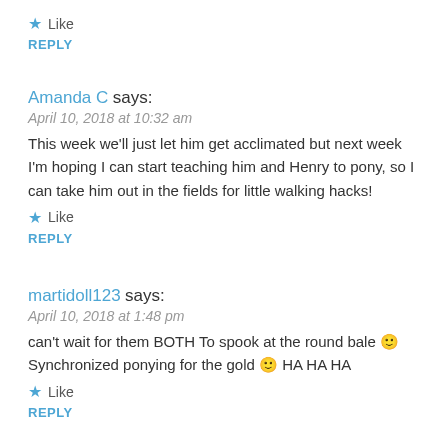★ Like
REPLY
Amanda C says:
April 10, 2018 at 10:32 am
This week we'll just let him get acclimated but next week I'm hoping I can start teaching him and Henry to pony, so I can take him out in the fields for little walking hacks!
★ Like
REPLY
martidoll123 says:
April 10, 2018 at 1:48 pm
can't wait for them BOTH To spook at the round bale 🙂 Synchronized ponying for the gold 🙂 HA HA HA
★ Like
REPLY